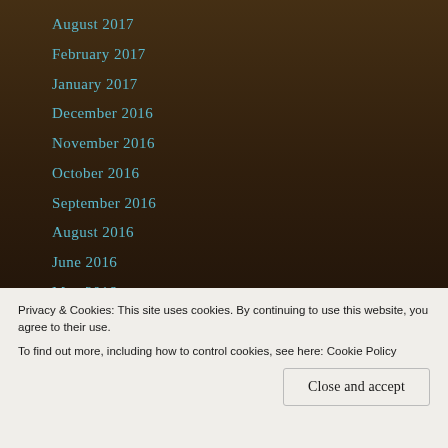August 2017
February 2017
January 2017
December 2016
November 2016
October 2016
September 2016
August 2016
June 2016
May 2016
April 2016
March 2016
Privacy & Cookies: This site uses cookies. By continuing to use this website, you agree to their use.
To find out more, including how to control cookies, see here: Cookie Policy
Close and accept